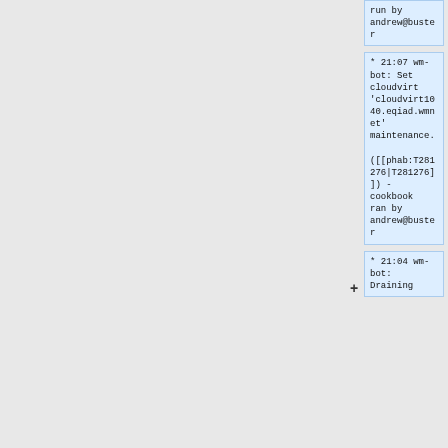run by andrew@buster
* 21:07 wm-bot: Set cloudvirt 'cloudvirt1040.eqiad.wmnet' maintenance.

([[phab:T281276|T281276]]) - cookbook ran by andrew@buster
* 21:04 wm-bot: Draining